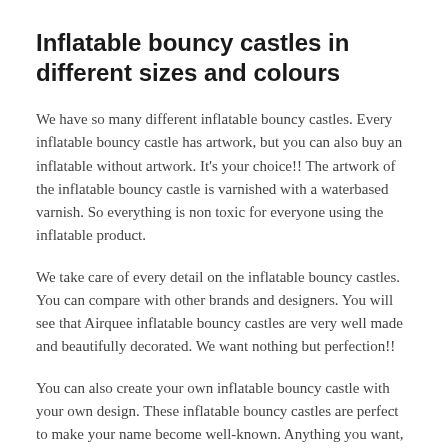Inflatable bouncy castles in different sizes and colours
We have so many different inflatable bouncy castles. Every inflatable bouncy castle has artwork, but you can also buy an inflatable without artwork. It's your choice!! The artwork of the inflatable bouncy castle is varnished with a waterbased varnish. So everything is non toxic for everyone using the inflatable product.
We take care of every detail on the inflatable bouncy castles. You can compare with other brands and designers. You will see that Airquee inflatable bouncy castles are very well made and beautifully decorated. We want nothing but perfection!!
You can also create your own inflatable bouncy castle with your own design. These inflatable bouncy castles are perfect to make your name become well-known. Anything you want, contact us, we will help you into creating the perfect inflatable bouncy castle for you.
Every inflatable bouncy castle is provided with a certificate EN14960 and certificate M2, fire retardant. Also a protectionbag for